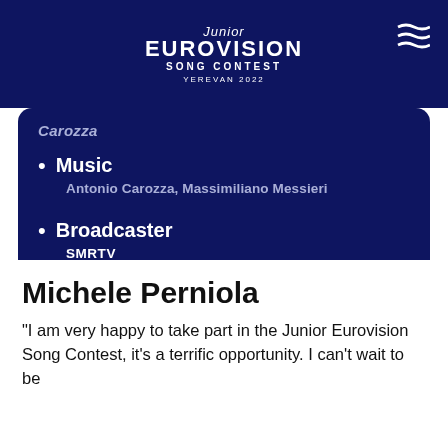Junior Eurovision Song Contest Yerevan 2022
Carozza
Music
Antonio Carozza, Massimiliano Messieri
Broadcaster
SMRTV
Michele Perniola
“I am very happy to take part in the Junior Eurovision Song Contest, it’s a terrific opportunity. I can’t wait to be